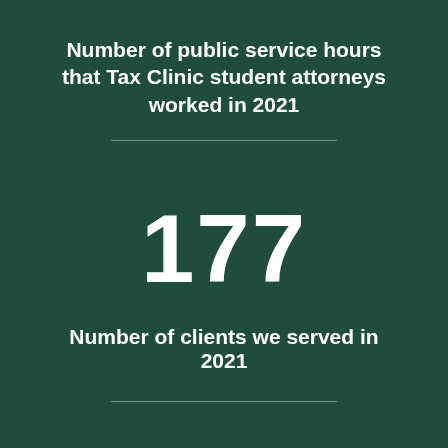Number of public service hours that Tax Clinic student attorneys worked in 2021
177
Number of clients we served in 2021